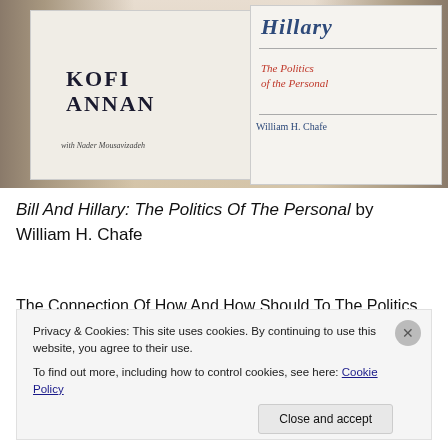[Figure (photo): Photograph of two book covers on a table in a library setting. Left book: 'KOFI ANNAN with Nader Mousavizadeh'. Right book: 'Hillary The Politics of the Personal by William H. Chafe'.]
Bill And Hillary: The Politics Of The Personal by William H. Chafe
The Connection Of How And How Should To The Politics Of...
Privacy & Cookies: This site uses cookies. By continuing to use this website, you agree to their use.
To find out more, including how to control cookies, see here: Cookie Policy